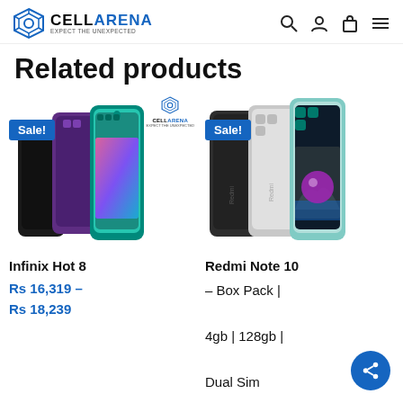[Figure (logo): CellArena logo with hexagon icon, brand name CELLARENA in bold with blue ARENA, tagline EXPECT THE UNEXPECTED]
Related products
[Figure (photo): Infinix Hot 8 smartphone shown in multiple color variants (black, purple, teal) with Sale! badge and CellArena watermark]
[Figure (photo): Redmi Note 10 smartphones shown in multiple color variants (black, silver, green) with Sale! badge]
Infinix Hot 8
Redmi Note 10
Rs 16,319 – Rs 18,239
– Box Pack | 4gb | 128gb | Dual Sim